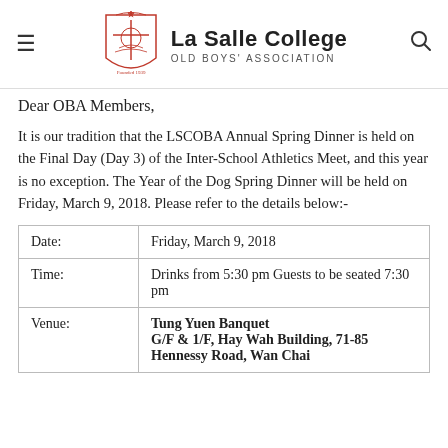[Figure (logo): La Salle College Old Boys' Association crest/logo with hamburger menu icon on left and search icon on right]
Dear OBA Members,
It is our tradition that the LSCOBA Annual Spring Dinner is held on the Final Day (Day 3) of the Inter-School Athletics Meet, and this year is no exception. The Year of the Dog Spring Dinner will be held on Friday, March 9, 2018. Please refer to the details below:-
| Date: | Friday, March 9, 2018 |
| Time: | Drinks from 5:30 pm Guests to be seated 7:30 pm |
| Venue: | Tung Yuen Banquet
G/F & 1/F, Hay Wah Building, 71-85 Hennessy Road, Wan Chai |